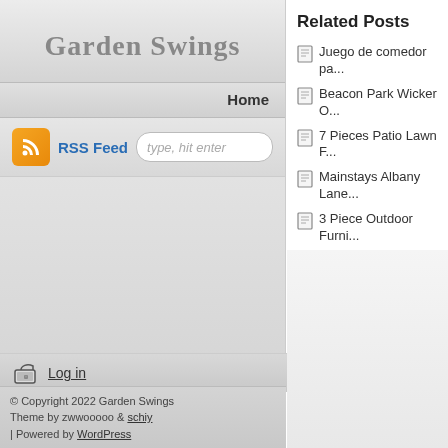Garden Swings
Home
RSS Feed  type, hit enter
Log in
© Copyright 2022 Garden Swings Theme by zwwooooo & schiy | Powered by WordPress
Related Posts
Juego de comedor pa...
Beacon Park Wicker O...
7 Pieces Patio Lawn F...
Mainstays Albany Lane...
3 Piece Outdoor Furni...
Comments are close...
Recent Comments